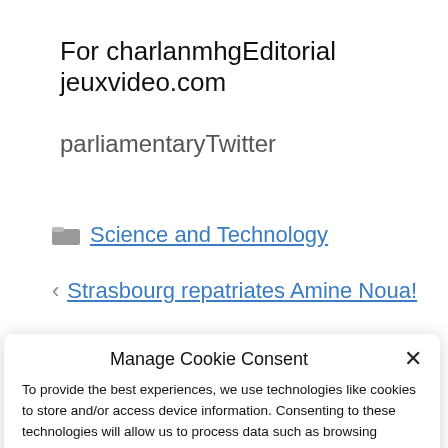For charlanmhgEditorial jeuxvideo.com
parliamentaryTwitter
Science and Technology
Strasbourg repatriates Amine Noua!
Manage Cookie Consent
To provide the best experiences, we use technologies like cookies to store and/or access device information. Consenting to these technologies will allow us to process data such as browsing behavior or unique IDs on this site. Not consenting or withdrawing consent, may adversely affect certain features and functions.
Accept